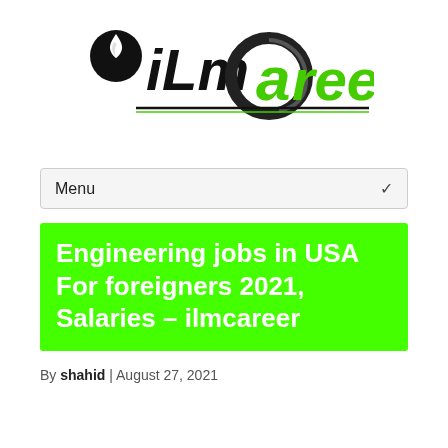[Figure (logo): iLmcareer logo with torch flame icon and stylized circular swoosh around the letter 'a']
Menu
Engineering jobs in USA For foreigners 2021, Salaries – ilmcareer
By shahid | August 27, 2021